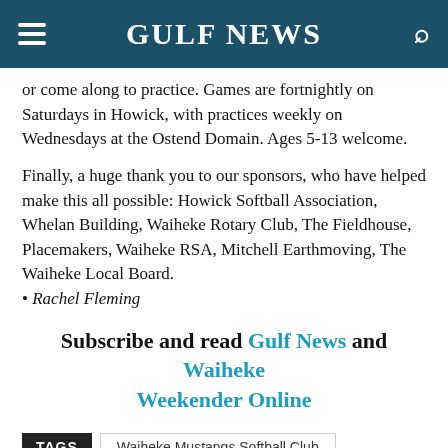Gulf News
or come along to practice. Games are fortnightly on Saturdays in Howick, with practices weekly on Wednesdays at the Ostend Domain. Ages 5-13 welcome.
Finally, a huge thank you to our sponsors, who have helped make this all possible: Howick Softball Association, Whelan Building, Waiheke Rotary Club, The Fieldhouse, Placemakers, Waiheke RSA, Mitchell Earthmoving, The Waiheke Local Board.
• Rachel Fleming
Subscribe and read Gulf News and Waiheke Weekender Online
TAGS  Waiheke Mustangs Softball Club